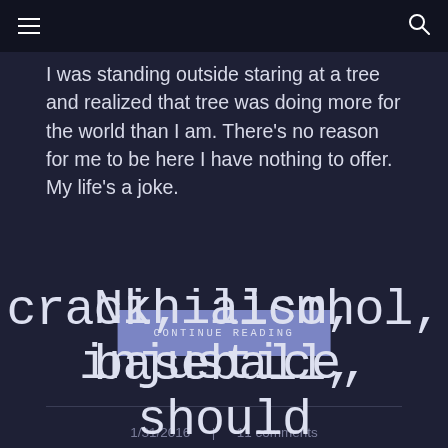≡ (menu) | 🔍 (search)
I was standing outside staring at a tree and realized that tree was doing more for the world than I am. There's no reason for me to be here I have nothing to offer. My life's a joke.
CONTINUE READING
1/31/2016  |  11 comments
Physics, Nihilism, injustice, crack, alcohol, baseball, should